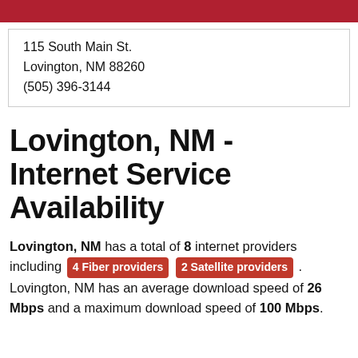115 South Main St.
Lovington, NM 88260
(505) 396-3144
Lovington, NM - Internet Service Availability
Lovington, NM has a total of 8 internet providers including 4 Fiber providers 2 Satellite providers . Lovington, NM has an average download speed of 26 Mbps and a maximum download speed of 100 Mbps.